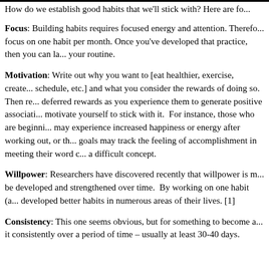How do we establish good habits that we'll stick with? Here are fo...
Focus: Building habits requires focused energy and attention. Therefore focus on one habit per month. Once you've developed that practice, then you can layer it into your routine.
Motivation: Write out why you want to [eat healthier, exercise, create a schedule, etc.] and what you consider the rewards of doing so. Then record deferred rewards as you experience them to generate positive associations and motivate yourself to stick with it. For instance, those who are beginning to exercise may experience increased happiness or energy after working out, or those with writing goals may track the feeling of accomplishment in meeting their word count, even if it's a difficult concept.
Willpower: Researchers have discovered recently that willpower is more like a muscle that can be developed and strengthened over time. By working on one habit (a...) developed better habits in numerous areas of their lives. [1]
Consistency: This one seems obvious, but for something to become a habit you need to do it consistently over a period of time – usually at least 30-40 days.